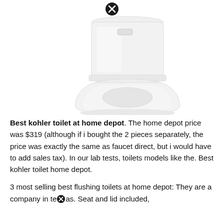[Figure (photo): A white Kohler toilet (partial view, showing tank and upper bowl from a front-side angle) on a white background. A close/X icon appears at the top center of the image.]
Best kohler toilet at home depot. The home depot price was $319 (although if i bought the 2 pieces separately, the price was exactly the same as faucet direct, but i would have to add sales tax). In our lab tests, toilets models like the. Best kohler toilet home depot.
3 most selling best flushing toilets at home depot: They are a company in texas. Seat and lid included,